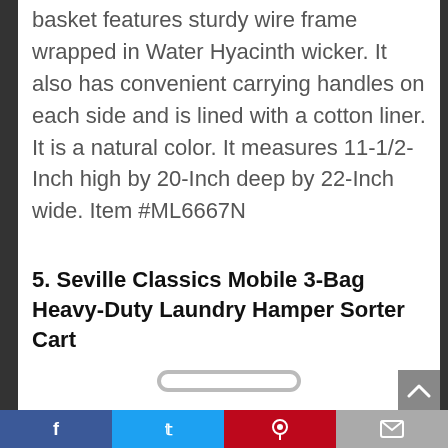basket features sturdy wire frame wrapped in Water Hyacinth wicker. It also has convenient carrying handles on each side and is lined with a cotton liner. It is a natural color. It measures 11-1/2-Inch high by 20-Inch deep by 22-Inch wide. Item #ML6667N
5. Seville Classics Mobile 3-Bag Heavy-Duty Laundry Hamper Sorter Cart
[Figure (photo): Partial product image of Seville Classics laundry hamper sorter cart, showing the top/frame portion at bottom of page]
Social share bar with Facebook, Twitter, Pinterest, and Email icons